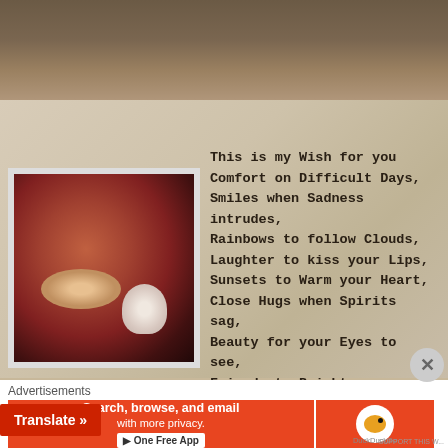[Figure (photo): A photograph mounted on a wooden wall showing a person smiling and holding a stuffed animal, next to a wooden sign with typewriter-font poem text. The poem reads: This is my Wish for you / Comfort on Difficult Days, / Smiles when Sadness intrudes, / Rainbows to follow Clouds, / Laughter to kiss your Lips, / Sunsets to Warm your Heart, / Close Hugs when Spirits sag, / Beauty for your Eyes to see, / Friends to Brighten your being, / Faith so that you can Believe, / Confidence for when you Doubt, / Courage to know Yourself.]
Advertisements
[Figure (screenshot): Advertisement banner for DuckDuckGo: 'Search, browse, and email with more privacy. One Free App' with DuckDuckGo logo and duck mascot icon.]
Translate »